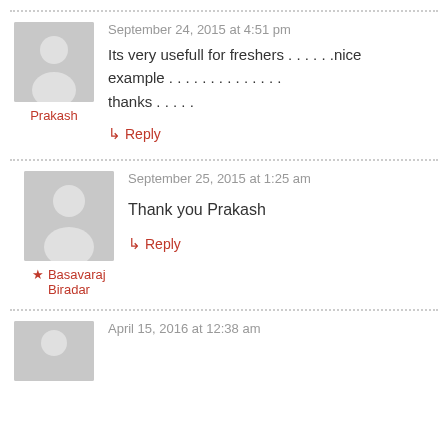September 24, 2015 at 4:51 pm
Its very usefull for freshers . . . . . .nice example . . . . . . . . . . . . . . thanks . . . . .
↳ Reply
Prakash
September 25, 2015 at 1:25 am
Thank you Prakash
↳ Reply
★ Basavaraj Biradar
April 15, 2016 at 12:38 am